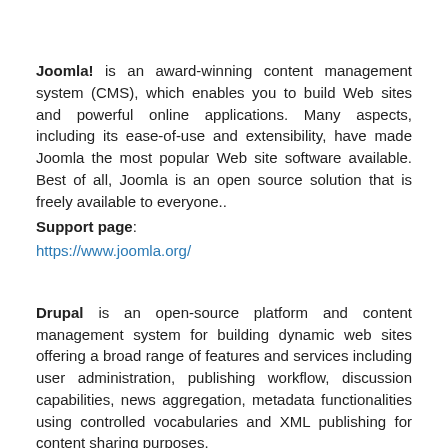Joomla! is an award-winning content management system (CMS), which enables you to build Web sites and powerful online applications. Many aspects, including its ease-of-use and extensibility, have made Joomla the most popular Web site software available. Best of all, Joomla is an open source solution that is freely available to everyone.. Support page: https://www.joomla.org/
Drupal is an open-source platform and content management system for building dynamic web sites offering a broad range of features and services including user administration, publishing workflow, discussion capabilities, news aggregation, metadata functionalities using controlled vocabularies and XML publishing for content sharing purposes. Support page: https://www.drupal.org/